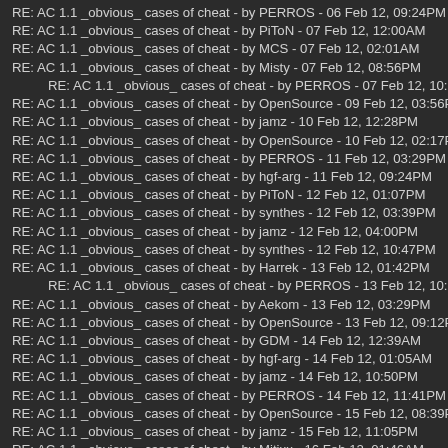RE: AC 1.1 _obvious_ cases of cheat - by PERROS - 06 Feb 12, 09:24PM
RE: AC 1.1 _obvious_ cases of cheat - by PiToN - 07 Feb 12, 12:00AM
RE: AC 1.1 _obvious_ cases of cheat - by MCS - 07 Feb 12, 02:01AM
RE: AC 1.1 _obvious_ cases of cheat - by Misty - 07 Feb 12, 08:56PM
RE: AC 1.1 _obvious_ cases of cheat - by PERROS - 07 Feb 12, 10:09PM
RE: AC 1.1 _obvious_ cases of cheat - by OpenSource - 09 Feb 12, 03:56PM
RE: AC 1.1 _obvious_ cases of cheat - by jamz - 10 Feb 12, 12:28PM
RE: AC 1.1 _obvious_ cases of cheat - by OpenSource - 10 Feb 12, 02:17PM
RE: AC 1.1 _obvious_ cases of cheat - by PERROS - 11 Feb 12, 03:29PM
RE: AC 1.1 _obvious_ cases of cheat - by hgf-arg - 11 Feb 12, 09:24PM
RE: AC 1.1 _obvious_ cases of cheat - by PiToN - 12 Feb 12, 01:07PM
RE: AC 1.1 _obvious_ cases of cheat - by synthes - 12 Feb 12, 03:39PM
RE: AC 1.1 _obvious_ cases of cheat - by jamz - 12 Feb 12, 04:00PM
RE: AC 1.1 _obvious_ cases of cheat - by synthes - 12 Feb 12, 10:47PM
RE: AC 1.1 _obvious_ cases of cheat - by Harrek - 13 Feb 12, 01:42PM
RE: AC 1.1 _obvious_ cases of cheat - by PERROS - 13 Feb 12, 10:50PM
RE: AC 1.1 _obvious_ cases of cheat - by Aekom - 13 Feb 12, 03:29PM
RE: AC 1.1 _obvious_ cases of cheat - by OpenSource - 13 Feb 12, 09:12PM
RE: AC 1.1 _obvious_ cases of cheat - by GDM - 14 Feb 12, 12:39AM
RE: AC 1.1 _obvious_ cases of cheat - by hgf-arg - 14 Feb 12, 01:05AM
RE: AC 1.1 _obvious_ cases of cheat - by jamz - 14 Feb 12, 10:50PM
RE: AC 1.1 _obvious_ cases of cheat - by PERROS - 14 Feb 12, 11:41PM
RE: AC 1.1 _obvious_ cases of cheat - by OpenSource - 15 Feb 12, 08:39PM
RE: AC 1.1 _obvious_ cases of cheat - by jamz - 15 Feb 12, 11:05PM
RE: AC 1.1 _obvious_ cases of cheat - by Mitixx - 16 Feb 12, 01:46AM